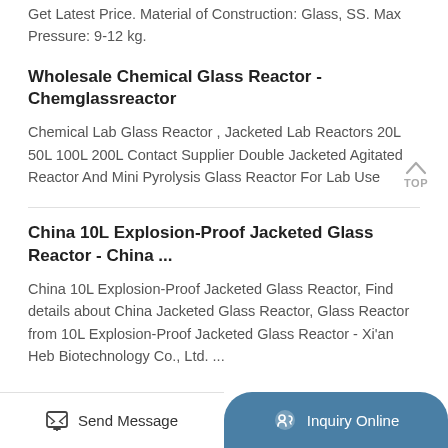Get Latest Price. Material of Construction: Glass, SS. Max Pressure: 9-12 kg.
Wholesale Chemical Glass Reactor - Chemglassreactor
Chemical Lab Glass Reactor , Jacketed Lab Reactors 20L 50L 100L 200L Contact Supplier Double Jacketed Agitated Reactor And Mini Pyrolysis Glass Reactor For Lab Use
China 10L Explosion-Proof Jacketed Glass Reactor - China ...
China 10L Explosion-Proof Jacketed Glass Reactor, Find details about China Jacketed Glass Reactor, Glass Reactor from 10L Explosion-Proof Jacketed Glass Reactor - Xi'an Heb Biotechnology Co., Ltd. ...
Send Message | Inquiry Online